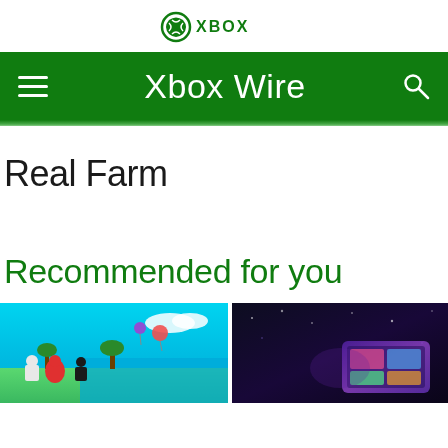XBOX
Xbox Wire
Real Farm
Recommended for you
[Figure (photo): Game thumbnail for a colorful farming/island game with characters and bright blue sky]
[Figure (photo): Game thumbnail with dark background showing a device or controller with colorful screen]